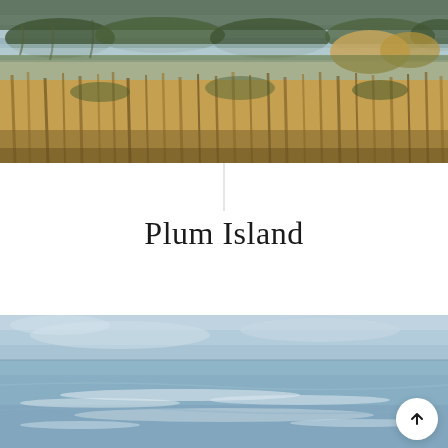[Figure (illustration): Painting of a marsh landscape with tall golden-brown reeds and grasses in the foreground, greenish-blue water and dark green vegetation in the background, impressionistic style.]
Plum Island
[Figure (illustration): Painting of a seascape with soft blue sky and calm blue-grey water, impressionistic style with visible brushstrokes, light whitish foam or waves in the lower portion.]